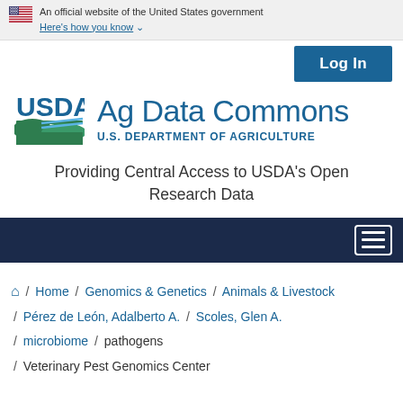An official website of the United States government
Here's how you know
[Figure (logo): USDA Ag Data Commons logo with USDA emblem and text 'Ag Data Commons / U.S. DEPARTMENT OF AGRICULTURE']
Providing Central Access to USDA's Open Research Data
Home / Genomics & Genetics / Animals & Livestock / Pérez de León, Adalberto A. / Scoles, Glen A. / microbiome / pathogens / Veterinary Pest Genomics Center